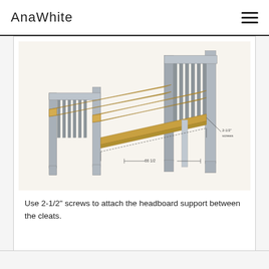AnaWhite
[Figure (engineering-diagram): 3D perspective illustration of a bed frame assembly showing headboard, footboard, and side rails with wooden cleats. Orange/tan colored side rails connect between gray wooden headboard and footboard posts. Dimension annotations show '2-1/2" screws' and '66 1/2' measurement lines pointing to the lower rail area.]
Use 2-1/2" screws to attach the headboard support between the cleats.